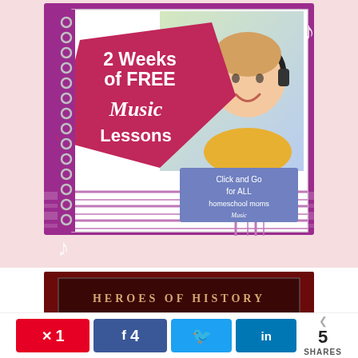[Figure (illustration): Promotional image for '2 Weeks of FREE Music Lessons' showing a spiral notebook with a child wearing headphones on the cover, on a purple background with music notes. Text reads '2 Weeks of FREE Music Lessons - Click and Go for ALL homeschool moms']
[Figure (illustration): Partial image showing 'Heroes of History' banner text on a dark red background]
1  4  5  SHARES